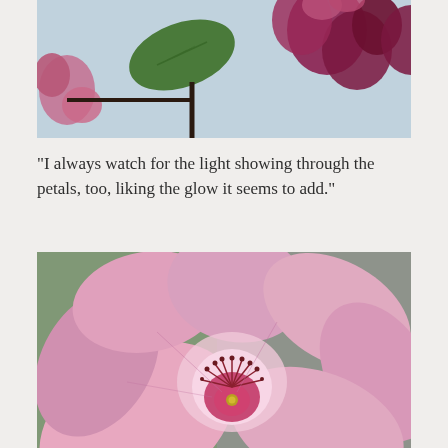[Figure (photo): Close-up photo of pink flower buds and a green leaf against a light sky background, partially cropped at top]
“I always watch for the light showing through the petals, too, liking the glow it seems to add.”
[Figure (photo): Close-up macro photo of a fully open pink blossom flower with visible stamens and petals showing light glow, against a blurred grey-green background]